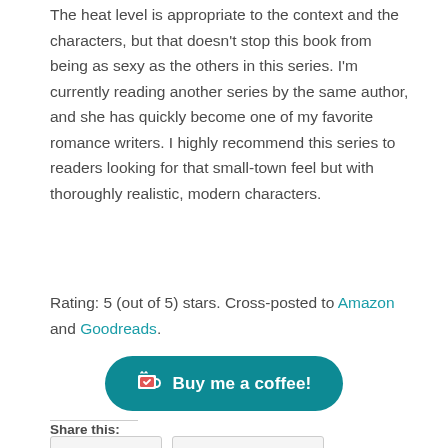The heat level is appropriate to the context and the characters, but that doesn't stop this book from being as sexy as the others in this series. I'm currently reading another series by the same author, and she has quickly become one of my favorite romance writers. I highly recommend this series to readers looking for that small-town feel but with thoroughly realistic, modern characters.
Rating: 5 (out of 5) stars. Cross-posted to Amazon and Goodreads.
[Figure (other): Buy me a coffee button — teal rounded rectangle with a coffee cup icon and text 'Buy me a coffee!']
Share this: